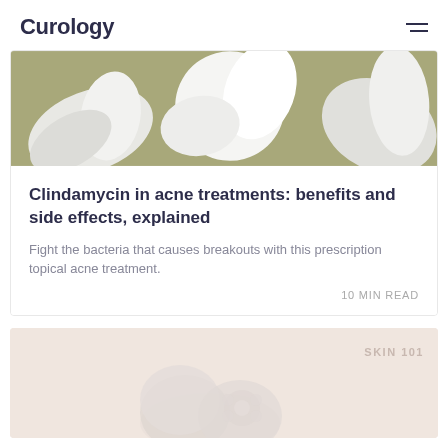Curology
[Figure (photo): Close-up photo of white cream blobs on an olive/khaki green background]
Clindamycin in acne treatments: benefits and side effects, explained
Fight the bacteria that causes breakouts with this prescription topical acne treatment.
10 MIN READ
[Figure (photo): Photo of white soap bars or skincare products on a light pink/blush background with SKIN 101 label]